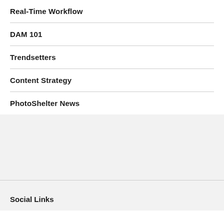Real-Time Workflow
DAM 101
Trendsetters
Content Strategy
PhotoShelter News
Social Links